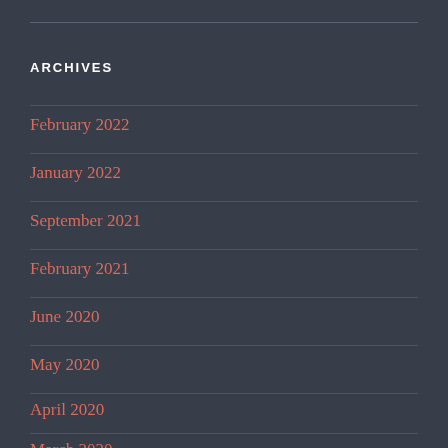ARCHIVES
February 2022
January 2022
September 2021
February 2021
June 2020
May 2020
April 2020
March 2020